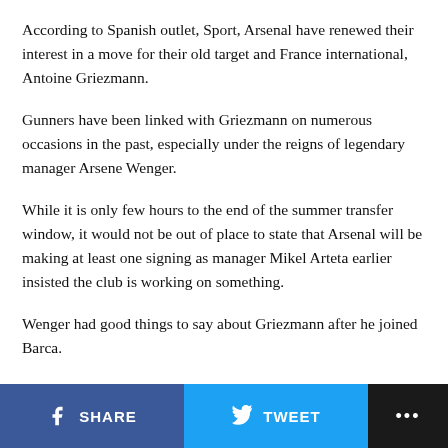According to Spanish outlet, Sport, Arsenal have renewed their interest in a move for their old target and France international, Antoine Griezmann.
Gunners have been linked with Griezmann on numerous occasions in the past, especially under the reigns of legendary manager Arsene Wenger.
While it is only few hours to the end of the summer transfer window, it would not be out of place to state that Arsenal will be making at least one signing as manager Mikel Arteta earlier insisted the club is working on something.
Wenger had good things to say about Griezmann after he joined Barca.
SHARE  TWEET  ...